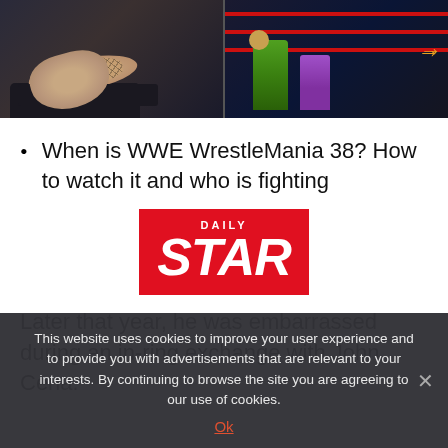[Figure (screenshot): Two video game wrestling screenshots side by side. Left: a wrestler lying on the mat in fishnets. Right: a wrestler in green outfit in the ring with red ropes and an arrow pointing right.]
When is WWE WrestleMania 38? How to watch it and who is fighting
[Figure (logo): Daily Star logo — white text on red background with 'DAILY' in small caps above large bold italic 'STAR']
Later that year, he was embarrassed during an in-ring exchange with John Cena.
This website uses cookies to improve your user experience and to provide you with advertisements that are relevant to your interests. By continuing to browse the site you are agreeing to our use of cookies.
Ok